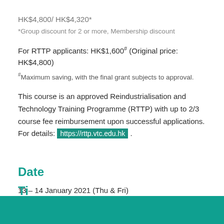HK$4,800/ HK$4,320*
*Group discount for 2 or more, Membership discount
For RTTP applicants: HK$1,600# (Original price: HK$4,800)
#Maximum saving, with the final grant subjects to approval.
This course is an approved Reindustrialisation and Technology Training Programme (RTTP) with up to 2/3 course fee reimbursement upon successful applications. For details: https://rttp.vtc.edu.hk .
Date
13 – 14 January 2021 (Thu & Fri)